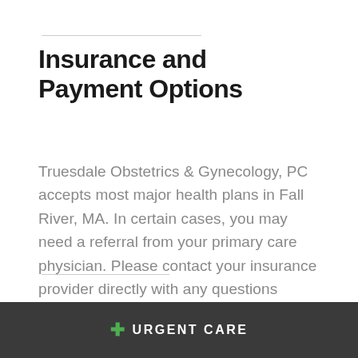Insurance and Payment Options
Truesdale Obstetrics & Gynecology, PC accepts most major health plans in Fall River, MA. In certain cases, you may need a referral from your primary care physician. Please contact your insurance provider directly with any questions related to coverage. You must show a form of ID and your insurance card when you arrive at our office. Payment is expected at the time of service.
+ URGENT CARE